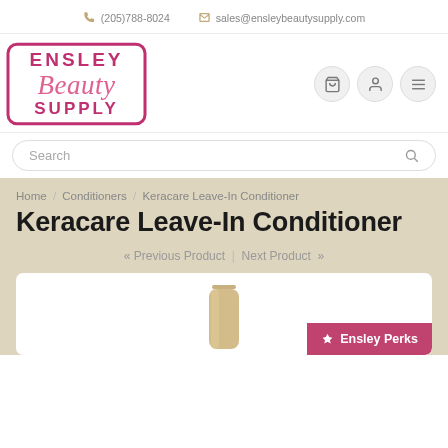(205)788-8024  sales@ensleybeautysupply.com
[Figure (logo): Ensley Beauty Supply logo — pink cursive 'Beauty' with 'ENSLEY' and 'SUPPLY' in magenta block letters, bordered rectangle]
Search
Home / Conditioners / Keracare Leave-In Conditioner
Keracare Leave-In Conditioner
« Previous Product  |  Next Product »
[Figure (photo): Partial view of a gold/tan product bottle (Keracare Leave-In Conditioner) against white background]
Ensley Perks